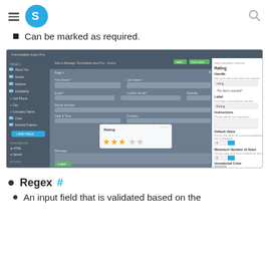S [logo]  [hamburger menu]  [search icon]
Can be marked as required.
[Figure (screenshot): Screenshot of a form builder application showing a rating field configuration panel on the right side with options for Handle, Label, Instructions, Default Value, Maximum Number of Stars, Unselected Color, Hover Color, and Selected Color. The form preview shows a Rating field with 3 out of 5 stars selected (gold stars).]
Regex #
An input field that is validated based on the